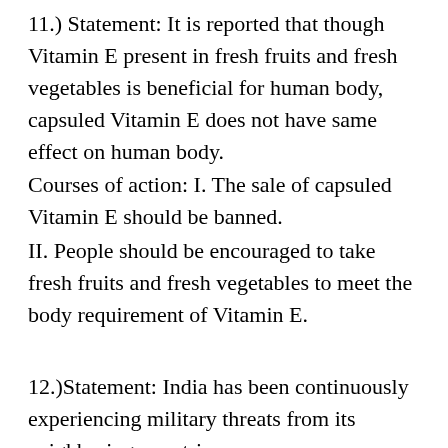11.) Statement: It is reported that though Vitamin E present in fresh fruits and fresh vegetables is beneficial for human body, capsuled Vitamin E does not have same effect on human body.
Courses of action: I. The sale of capsuled Vitamin E should be banned.
II. People should be encouraged to take fresh fruits and fresh vegetables to meet the body requirement of Vitamin E.
12.)Statement: India has been continuously experiencing military threats from its neighboring countries.
Courses of action: I. India should engage in an all-over war to stop the nagging threats.
II. India should get the neighbors into a serious